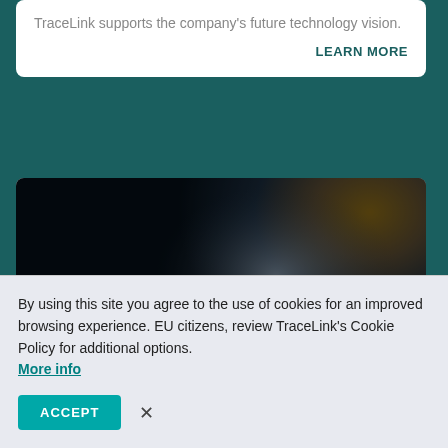TraceLink supports the company's future technology vision.
LEARN MORE
[Figure (photo): Satellite image of Earth from space with dark overlay, used as article header image]
Saudi Arabia: Understanding the Compliance Requirements
Download this infographic for an overview of Saudi
By using this site you agree to the use of cookies for an improved browsing experience. EU citizens, review TraceLink's Cookie Policy for additional options. More info
ACCEPT